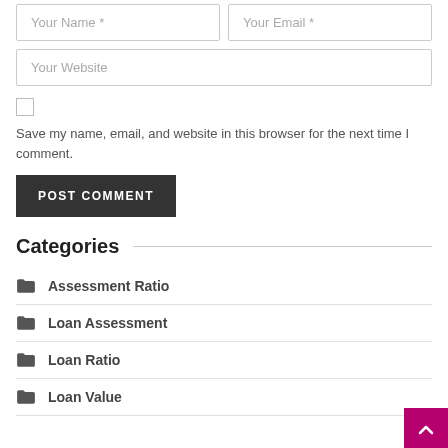Your Name *
Your Email *
Your Website
Save my name, email, and website in this browser for the next time I comment.
POST COMMENT
Categories
Assessment Ratio
Loan Assessment
Loan Ratio
Loan Value